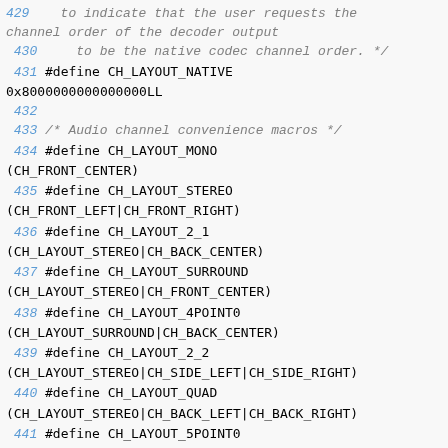429    to indicate that the user requests the channel order of the decoder output
430      to be the native codec channel order. */
431 #define CH_LAYOUT_NATIVE 0x8000000000000000LL
432
433 /* Audio channel convenience macros */
434 #define CH_LAYOUT_MONO (CH_FRONT_CENTER)
435 #define CH_LAYOUT_STEREO (CH_FRONT_LEFT|CH_FRONT_RIGHT)
436 #define CH_LAYOUT_2_1 (CH_LAYOUT_STEREO|CH_BACK_CENTER)
437 #define CH_LAYOUT_SURROUND (CH_LAYOUT_STEREO|CH_FRONT_CENTER)
438 #define CH_LAYOUT_4POINT0 (CH_LAYOUT_SURROUND|CH_BACK_CENTER)
439 #define CH_LAYOUT_2_2 (CH_LAYOUT_STEREO|CH_SIDE_LEFT|CH_SIDE_RIGHT)
440 #define CH_LAYOUT_QUAD (CH_LAYOUT_STEREO|CH_BACK_LEFT|CH_BACK_RIGHT)
441 #define CH_LAYOUT_5POINT0 (CH_LAYOUT_SURROUND|CH_SIDE_LEFT|CH_SIDE_RIGHT)
442 #define CH_LAYOUT_5POINT1 (CH_LAYOUT_5POINT0|CH_LOW_FREQUENCY)